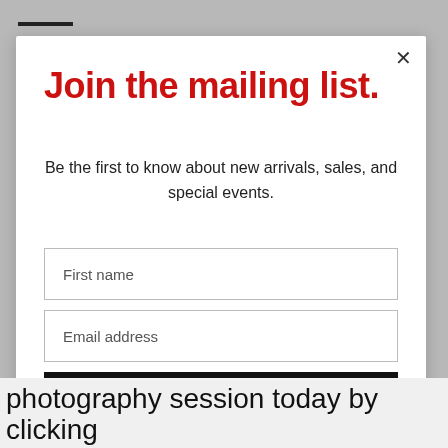Join the mailing list.
Be the first to know about new arrivals, sales, and special events.
First name
Email address
Subscribe
photography session today by clicking